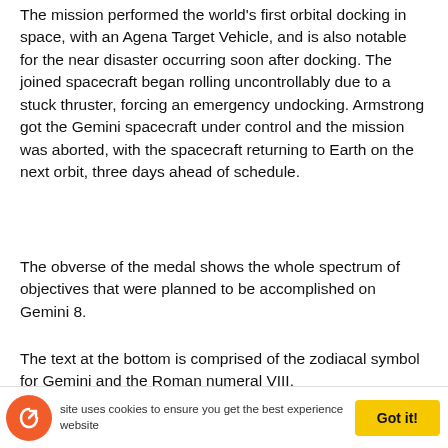The mission performed the world's first orbital docking in space, with an Agena Target Vehicle, and is also notable for the near disaster occurring soon after docking. The joined spacecraft began rolling uncontrollably due to a stuck thruster, forcing an emergency undocking. Armstrong got the Gemini spacecraft under control and the mission was aborted, with the spacecraft returning to Earth on the next orbit, three days ahead of schedule.
The obverse of the medal shows the whole spectrum of objectives that were planned to be accomplished on Gemini 8.
The text at the bottom is comprised of the zodiacal symbol for Gemini and the Roman numeral VIII.
The two stars are Castor and Pollux, which are in the constellation of Gemini, and are refracted through a
This site uses cookies to ensure you get the best experience on our website   Got it!